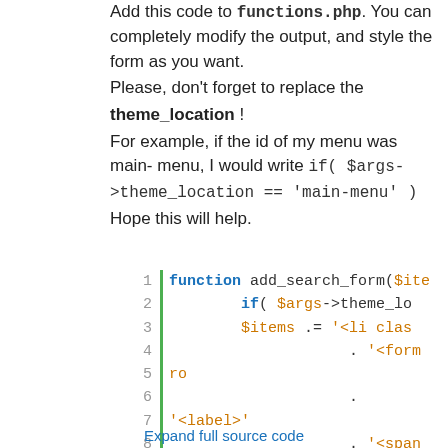Add this code to functions.php. You can completely modify the output, and style the form as you want.
Please, don't forget to replace the theme_location!
For example, if the id of my menu was main-menu, I would write if( $args->theme_location == 'main-menu' )
Hope this will help.
[Figure (screenshot): Code block showing PHP function add_search_form with line numbers 1-10 and a green vertical bar separator. Lines show: 1: function add_search_form($ite, 2: if( $args->theme_lo, 3: $items .= '<li clas, 4: . '<form ro, 5: . '<label>', 6: . '<span cl, 7: . '<input t, 8: . '</label>, 9: . '<input t, 10: . '</form>']
Expand full source code